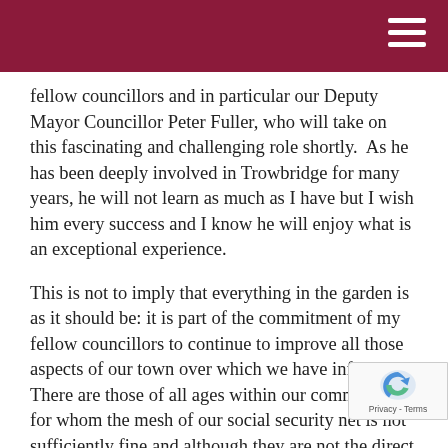fellow councillors and in particular our Deputy Mayor Councillor Peter Fuller, who will take on this fascinating and challenging role shortly.  As he has been deeply involved in Trowbridge for many years, he will not learn as much as I have but I wish him every success and I know he will enjoy what is an exceptional experience.
This is not to imply that everything in the garden is as it should be: it is part of the commitment of my fellow councillors to continue to improve all those aspects of our town over which we have influence. There are those of all ages within our community for whom the mesh of our social security net is not sufficiently fine and although they are not the direct responsibility of the Town Council, we do much to support the infrastructure which has been created by charities